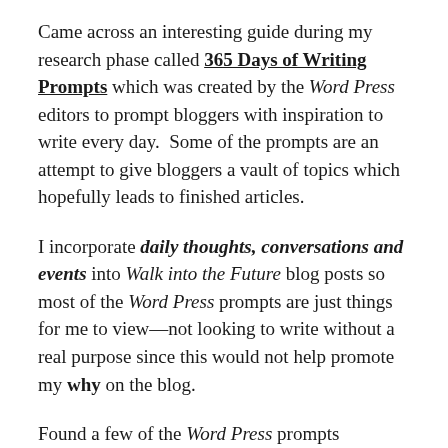Came across an interesting guide during my research phase called 365 Days of Writing Prompts which was created by the Word Press editors to prompt bloggers with inspiration to write every day.  Some of the prompts are an attempt to give bloggers a vault of topics which hopefully leads to finished articles.
I incorporate daily thoughts, conversations and events into Walk into the Future blog posts so most of the Word Press prompts are just things for me to view—not looking to write without a real purpose since this would not help promote my why on the blog.
Found a few of the Word Press prompts